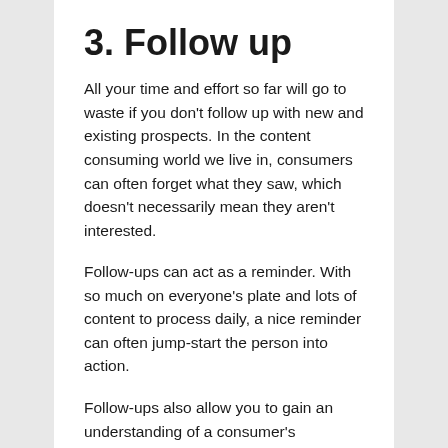3. Follow up
All your time and effort so far will go to waste if you don't follow up with new and existing prospects. In the content consuming world we live in, consumers can often forget what they saw, which doesn't necessarily mean they aren't interested.
Follow-ups can act as a reminder. With so much on everyone's plate and lots of content to process daily, a nice reminder can often jump-start the person into action.
Follow-ups also allow you to gain an understanding of a consumer's hesitation and work to persuade them otherwise. They build credibility and allows you to tell prospects more